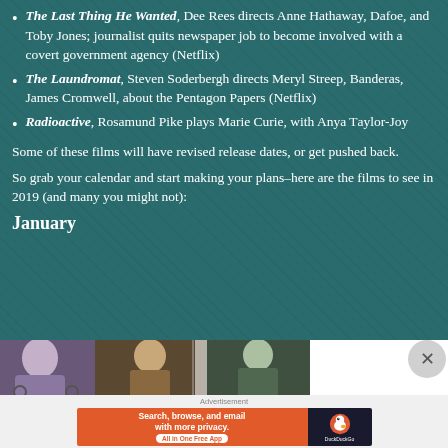The Last Thing He Wanted, Dee Rees directs Anne Hathawa[y], Dafoe, and Toby Jones; journalist quits newspaper job to b[ecome involved with] a covert government agency (Netflix)
The Laundromat, Steven Soderbergh directs Meryl Streep, [Antonio] Banderas, James Cromwell, about the Pentagon Papers (Ne[tflix)
Radioactive, Rosamund Pike plays Marie Curie, with Anya [Taylor-Joy]
Some of these films will have revised release dates, or get push[ed back].
So grab your calendar and start making your plans–here are th[e films to] see in 2019 (and many you might not):
January
[Figure (photo): A strip photo showing people seated, partially visible — persons in wheelchairs or seated positions in what appears to be a waiting room or hallway.]
[Figure (screenshot): Advertisement banner for DuckDuckGo: 'Search, browse, and email with more privacy. All in One Free App' with DuckDuckGo logo on dark background.]